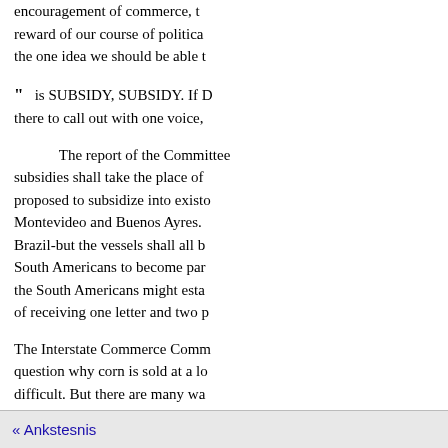encouragement of commerce, t reward of our course of politica the one idea we should be able t
" is SUBSIDY, SUBSIDY. If D there to call out with one voice,
The report of the Committee subsidies shall take the place of proposed to subsidize into existo Montevideo and Buenos Ayres. Brazil-but the vessels shall all b South Americans to become par the South Americans might esta of receiving one letter and two p
The Interstate Commerce Comm question why corn is sold at a lo difficult. But there are many wa approached over the Union Paci York Central from Buffalo, as b without prepossessions. If prepo two kinds: the low price of corn the farmer is heir to.
« Ankstesnis